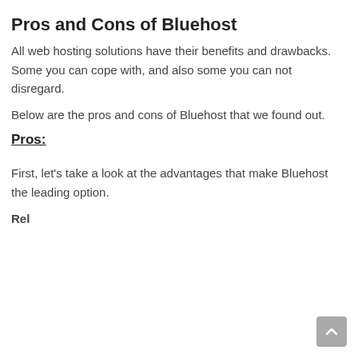Pros and Cons of Bluehost
All web hosting solutions have their benefits and drawbacks. Some you can cope with, and also some you can not disregard.
Below are the pros and cons of Bluehost that we found out.
Pros:
First, let’s take a look at the advantages that make Bluehost the leading option.